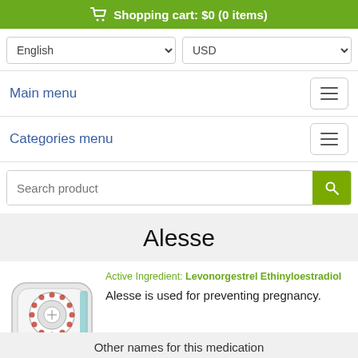Shopping cart: $0 (0 items)
English   USD
Main menu
Categories menu
Search product
Alesse
Active Ingredient: Levonorgestrel Ethinyloestradiol
Alesse is used for preventing pregnancy.
Other names for this medication